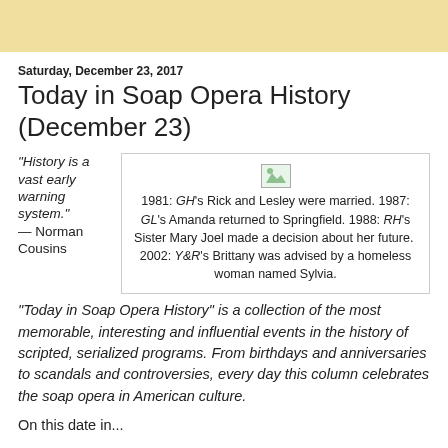Saturday, December 23, 2017
Today in Soap Opera History (December 23)
"History is a vast early warning system."
— Norman Cousins
[Figure (photo): Broken image placeholder with caption: 1981: GH's Rick and Lesley were married. 1987: GL's Amanda returned to Springfield. 1988: RH's Sister Mary Joel made a decision about her future. 2002: Y&R's Brittany was advised by a homeless woman named Sylvia.]
"Today in Soap Opera History" is a collection of the most memorable, interesting and influential events in the history of scripted, serialized programs. From birthdays and anniversaries to scandals and controversies, every day this column celebrates the soap opera in American culture.
On this date in...